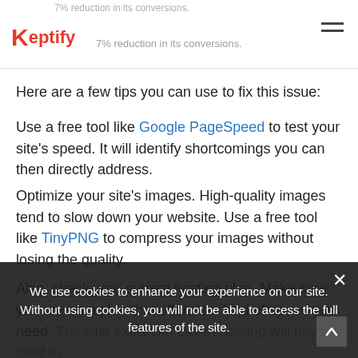Keptify — 7% reduction in its conversions.
Here are a few tips you can use to fix this issue:
Use a free tool like Google PageSpeed to test your site's speed. It will identify shortcomings you can then directly address.
Optimize your site's images. High-quality images tend to slow down your website. Use a free tool like TinyPNG to compress your images without losing the quality.
Also, check your current hosting plan. Make sure you are on a plan that offers the kind of speed you need. The little extra you pay in hosting will pay for itself in...
We use cookies to enhance your experience on our site. Without using cookies, you will not be able to access the full features of the site.